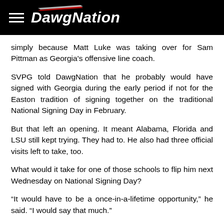DawgNation
simply because Matt Luke was taking over for Sam Pittman as Georgia's offensive line coach.
SVPG told DawgNation that he probably would have signed with Georgia during the early period if not for the Easton tradition of signing together on the traditional National Signing Day in February.
But that left an opening. It meant Alabama, Florida and LSU still kept trying. They had to. He also had three official visits left to take, too.
What would it take for one of those schools to flip him next Wednesday on National Signing Day?
“It would have to be a once-in-a-lifetime opportunity,” he said. “I would say that much.”